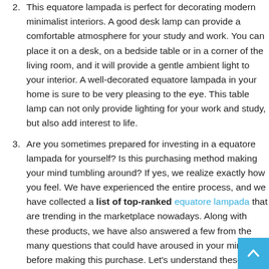2. This equatore lampada is perfect for decorating modern minimalist interiors. A good desk lamp can provide a comfortable atmosphere for your study and work. You can place it on a desk, on a bedside table or in a corner of the living room, and it will provide a gentle ambient light to your interior. A well-decorated equatore lampada in your home is sure to be very pleasing to the eye. This table lamp can not only provide lighting for your work and study, but also add interest to life.
3. Are you sometimes prepared for investing in a equatore lampada for yourself? Is this purchasing method making your mind tumbling around? If yes, we realize exactly how you feel. We have experienced the entire process, and we have collected a list of top-ranked equatore lampada that are trending in the marketplace nowadays. Along with these products, we have also answered a few from the many questions that could have aroused in your mind before making this purchase. Let's understand these issues: